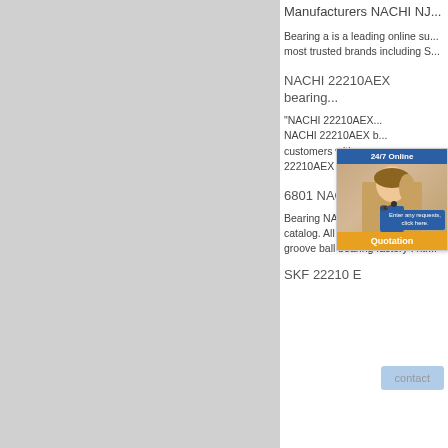Manufacturers NACHI NJ...
Bearing a is a leading online su... most trusted brands including S...
NACHI 22210AEX bearing...
"NACHI 22210AEX... NACHI 22210AEX b... customers with a se... 22210AEX bearing:...
6801 NACHI Bearing - OK...
Bearing NACHI 6801 - rpmbea... catalog. All Products | Bearing... groove ball bearing factory ! ntr...
SKF 22210 E